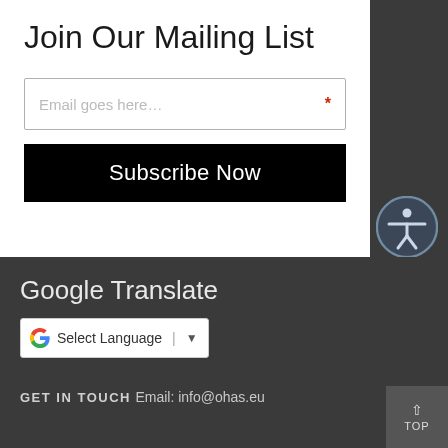Join Our Mailing List
Email goes here... *
Subscribe Now
[Figure (illustration): Accessibility icon — circular badge with a human figure symbol, blue-tinted on dark background]
Google Translate
[Figure (logo): Google G logo with Select Language dropdown selector]
GET IN TOUCH
Email: info@ohas.eu
[Figure (other): TOP back-to-top button with upward arrow]